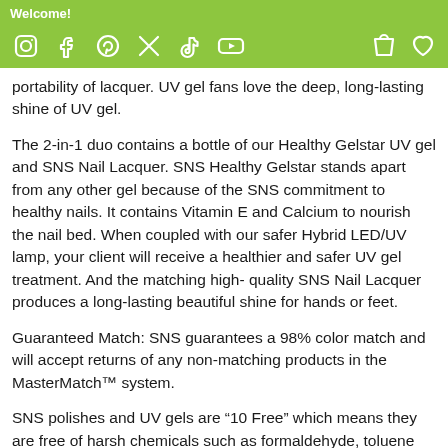Welcome!
portability of lacquer. UV gel fans love the deep, long-lasting shine of UV gel.
The 2-in-1 duo contains a bottle of our Healthy Gelstar UV gel and SNS Nail Lacquer. SNS Healthy Gelstar stands apart from any other gel because of the SNS commitment to healthy nails. It contains Vitamin E and Calcium to nourish the nail bed. When coupled with our safer Hybrid LED/UV lamp, your client will receive a healthier and safer UV gel treatment. And the matching high- quality SNS Nail Lacquer produces a long-lasting beautiful shine for hands or feet.
Guaranteed Match: SNS guarantees a 98% color match and will accept returns of any non-matching products in the MasterMatch™ system.
SNS polishes and UV gels are “10 Free” which means they are free of harsh chemicals such as formaldehyde, toluene